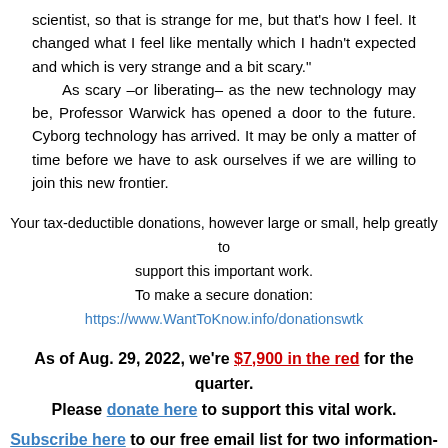scientist, so that is strange for me, but that's how I feel. It changed what I feel like mentally which I hadn't expected and which is very strange and a bit scary." As scary –or liberating– as the new technology may be, Professor Warwick has opened a door to the future. Cyborg technology has arrived. It may be only a matter of time before we have to ask ourselves if we are willing to join this new frontier.
Your tax-deductible donations, however large or small, help greatly to support this important work. To make a secure donation: https://www.WantToKnow.info/donationswtk
As of Aug. 29, 2022, we're $7,900 in the red for the quarter. Please donate here to support this vital work. Subscribe here to our free email list for two information-packed emails per week.
Overwhelmed by this material?